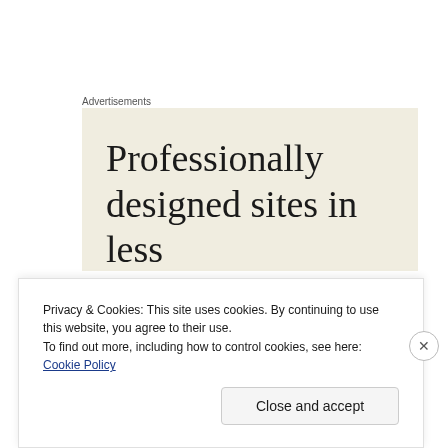Advertisements
[Figure (screenshot): Advertisement banner with cream/beige background showing text: 'Professionally designed sites in less' (text cut off at bottom)]
Privacy & Cookies: This site uses cookies. By continuing to use this website, you agree to their use.
To find out more, including how to control cookies, see here: Cookie Policy
Close and accept